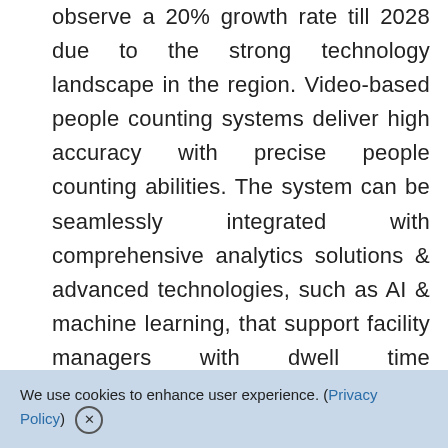observe a 20% growth rate till 2028 due to the strong technology landscape in the region. Video-based people counting systems deliver high accuracy with precise people counting abilities. The system can be seamlessly integrated with comprehensive analytics solutions & advanced technologies, such as AI & machine learning, that support facility managers with dwell time measurement, in-store analytics, and queue management. The advancements in technology will encourage end-users to install the system to reduce operational costs, thus surging the market expansion of people counting
We use cookies to enhance user experience. (Privacy Policy) X